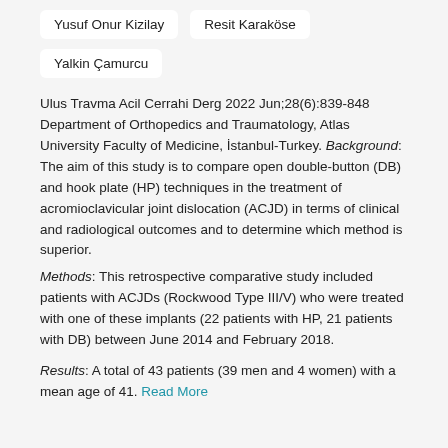Yusuf Onur Kizilay   Resit Karaköse
Yalkin Çamurcu
Ulus Travma Acil Cerrahi Derg 2022 Jun;28(6):839-848 Department of Orthopedics and Traumatology, Atlas University Faculty of Medicine, İstanbul-Turkey.
Background: The aim of this study is to compare open double-button (DB) and hook plate (HP) techniques in the treatment of acromioclavicular joint dislocation (ACJD) in terms of clinical and radiological outcomes and to determine which method is superior.
Methods: This retrospective comparative study included patients with ACJDs (Rockwood Type III/V) who were treated with one of these implants (22 patients with HP, 21 patients with DB) between June 2014 and February 2018.
Results: A total of 43 patients (39 men and 4 women) with a mean age of 41. Read More